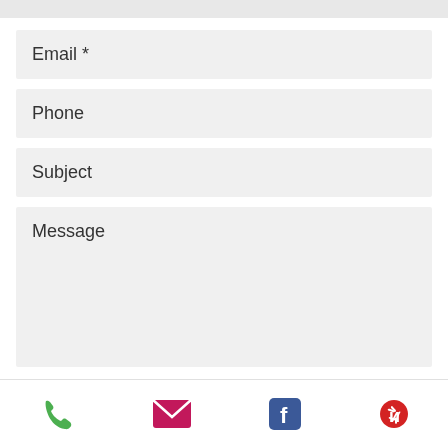Email *
Phone
Subject
Message
Send
[Figure (infographic): Footer bar with four icons: phone (green), email/envelope (magenta/pink), Facebook (blue), Yelp (red)]